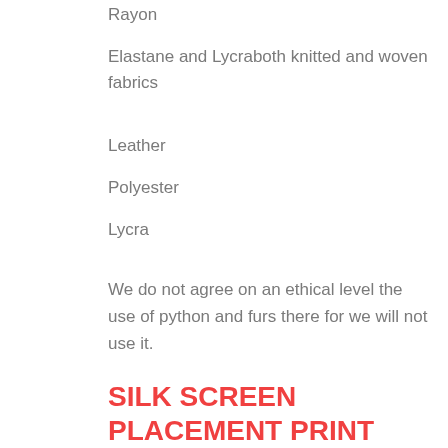Rayon
Elastane and Lycraboth knitted and woven fabrics
Leather
Polyester
Lycra
We do not agree on an ethical level the use of python and furs there for we will not use it.
SILK SCREEN PLACEMENT PRINT
Silk Screen printing technique is one of the most common textile printing techniques used in Indonesia. This process in most cases is a manual